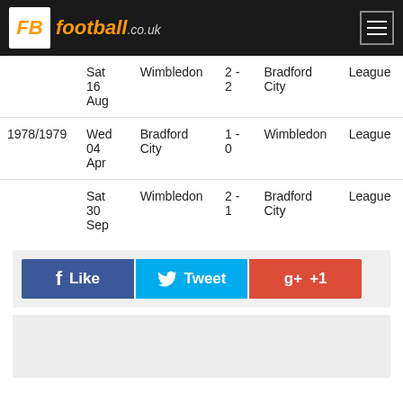FB football.co.uk
| Season | Date | Home | Score | Away | Comp |
| --- | --- | --- | --- | --- | --- |
|  | Sat 16 Aug | Wimbledon | 2 - 2 | Bradford City | League |
| 1978/1979 | Wed 04 Apr | Bradford City | 1 - 0 | Wimbledon | League |
|  | Sat 30 Sep | Wimbledon | 2 - 1 | Bradford City | League |
[Figure (infographic): Social sharing bar with Facebook Like, Twitter Tweet, and Google +1 buttons]